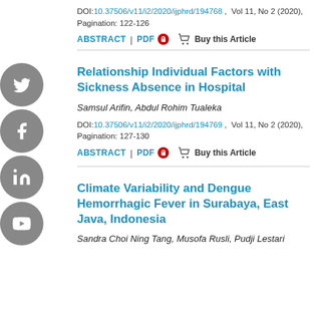DOI:10.37506/v11/i2/2020/ijphrd/194768 , Vol 11, No 2 (2020), Pagination: 122-126
ABSTRACT | PDF 🔒 🛒 Buy this Article
Relationship Individual Factors with Sickness Absence in Hospital
Samsul Arifin, Abdul Rohim Tualeka
DOI:10.37506/v11/i2/2020/ijphrd/194769 , Vol 11, No 2 (2020), Pagination: 127-130
ABSTRACT | PDF 🔒 🛒 Buy this Article
Climate Variability and Dengue Hemorrhagic Fever in Surabaya, East Java, Indonesia
Sandra Choi Ning Tang, Musofa Rusli, Pudji Lestari